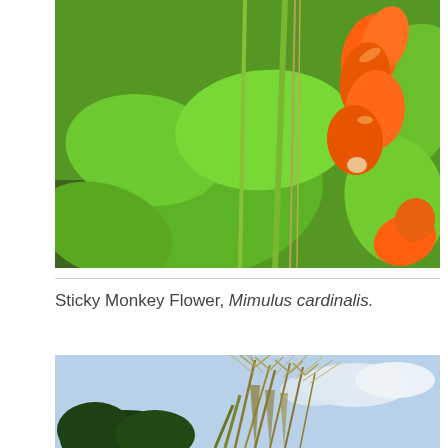[Figure (photo): Close-up photograph of Sticky Monkey Flower (Mimulus cardinalis) plant with bright orange tubular flowers and large green leaves, with other vegetation in background.]
Sticky Monkey Flower, Mimulus cardinalis.
[Figure (photo): Close-up photograph of grass or grain plant with spiky seed heads and long awns against a partly cloudy blue sky background.]